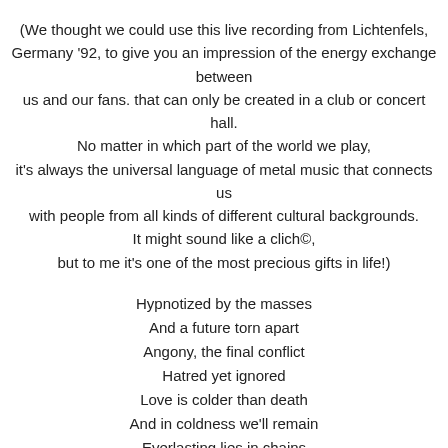(We thought we could use this live recording from Lichtenfels, Germany '92, to give you an impression of the energy exchange between us and our fans. that can only be created in a club or concert hall. No matter in which part of the world we play, it's always the universal language of metal music that connects us with people from all kinds of different cultural backgrounds. It might sound like a clich©, but to me it's one of the most precious gifts in life!)
Hypnotized by the masses
And a future torn apart
Angony, the final conflict
Hatred yet ignored
Love is colder than death
And in coldness we'll remain
Everlasting lies in chains
Destroying dreams against all norms
They spread it all across the earth
Dominion without a form
Winter martyrium